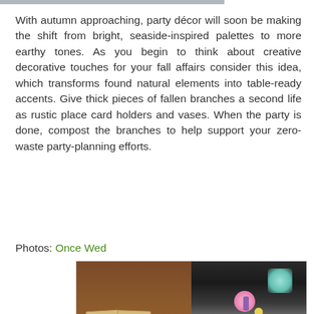With autumn approaching, party décor will soon be making the shift from bright, seaside-inspired palettes to more earthy tones. As you begin to think about creative decorative touches for your fall affairs consider this idea, which transforms found natural elements into table-ready accents. Give thick pieces of fallen branches a second life as rustic place card holders and vases. When the party is done, compost the branches to help support your zero-waste party-planning efforts.
Photos: Once Wed
[Figure (photo): Two side-by-side photos: left shows rustic branch log place card holders with kraft paper cards on a table; right shows a branch log vase with pink and yellow wildflowers on a wedding reception table.]